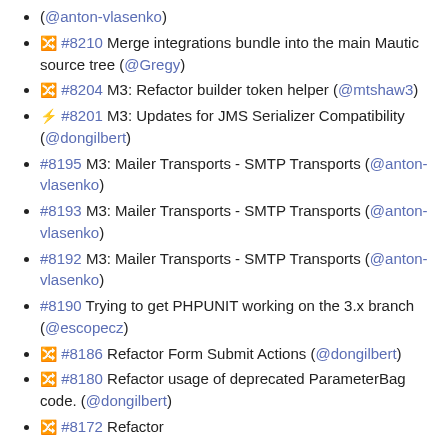(@anton-vlasenko)
🔀 #8210 Merge integrations bundle into the main Mautic source tree (@Gregy)
🔀 #8204 M3: Refactor builder token helper (@mtshaw3)
⚡ #8201 M3: Updates for JMS Serializer Compatibility (@dongilbert)
#8195 M3: Mailer Transports - SMTP Transports (@anton-vlasenko)
#8193 M3: Mailer Transports - SMTP Transports (@anton-vlasenko)
#8192 M3: Mailer Transports - SMTP Transports (@anton-vlasenko)
#8190 Trying to get PHPUNIT working on the 3.x branch (@escopecz)
🔀 #8186 Refactor Form Submit Actions (@dongilbert)
🔀 #8180 Refactor usage of deprecated ParameterBag code. (@dongilbert)
🔀 #8172 Refactor